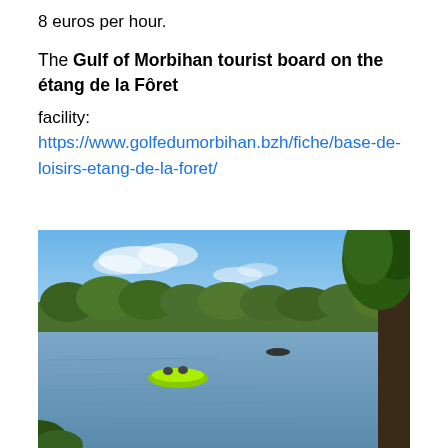8 euros per hour.
The Gulf of Morbihan tourist board on the étang de la Fôret
facility: https://www.golfedumorbihan.bzh/fiche/base-de-loisirs-etang-de-la-foret/
[Figure (photo): A lake scene with a bright green inflatable boat on calm water, surrounded by trees and green hills under a blue sky with light clouds.]